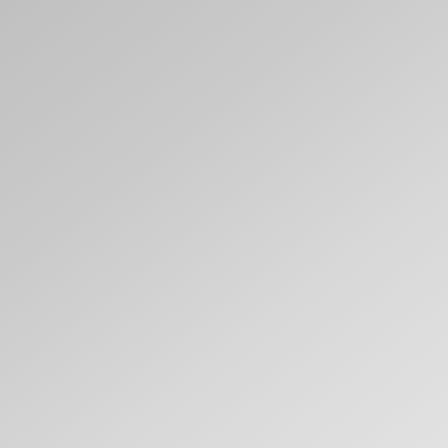[Figure (photo): Left portion: large gray gradient panel occupying roughly the left 57% of the page. This appears to be a cropped image of an aircraft interior or seat, with a light gray background.]
reminds me of the caves of Tu at JFK). The mid-cabin lavato boot.
JAL's Recaro economy chairs inches!) cup holders, coat hoo
[Figure (photo): Partial photo in lower right corner showing an aircraft seat-back IFE (in-flight entertainment) screen, white seat frame visible, blue screen displayed, angled view from the side.]